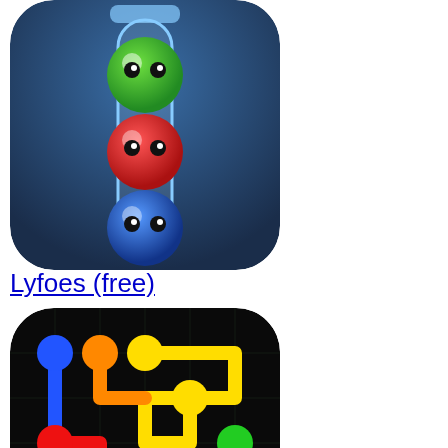[Figure (illustration): Lyfoes app icon: colorful balls with eyes in a test tube on dark blue background]
Lyfoes (free)
[Figure (illustration): Flow Free app icon: colored dot-connecting puzzle lines on black background]
Flow Free
[Figure (illustration): Block Puzzle app icon: colorful tetris-like blocks on dark background]
Block Puzzle
[Figure (illustration): Partial view of another app icon with colorful character]